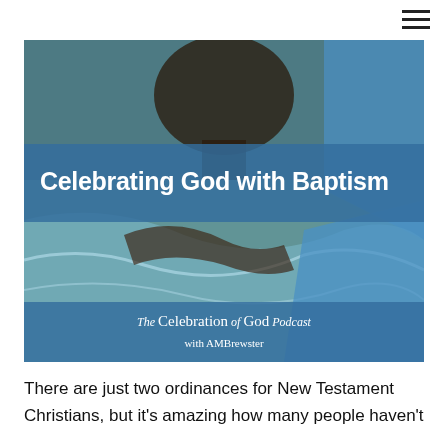[Figure (photo): Baptism scene showing a person being immersed in water, wearing blue clothing. The image has a blue semi-transparent overlay band with the title 'Celebrating God with Baptism' and a bottom band reading 'The Celebration of God Podcast with AMBrewster'.]
There are just two ordinances for New Testament Christians, but it's amazing how many people haven't